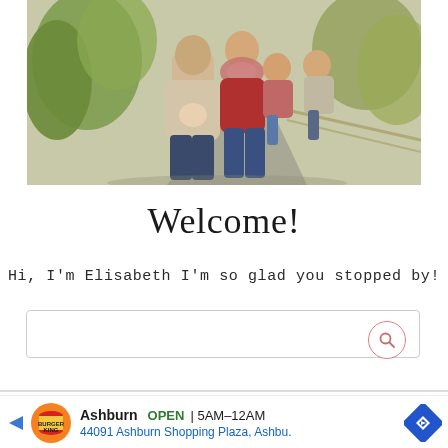[Figure (photo): Family portrait of a couple with three children (a baby, a young girl, and a toddler boy) standing on a tree-lined path in autumn, casual clothing in tones of red, beige, and denim.]
Welcome!
Hi, I'm Elisabeth I'm so glad you stopped by!
[Figure (other): Search bar with a magnifying glass icon in a coral/red circle on the right side.]
[Figure (other): Burger King advertisement banner: Ashburn OPEN 5AM–12AM, 44091 Ashburn Shopping Plaza, Ashbu.]